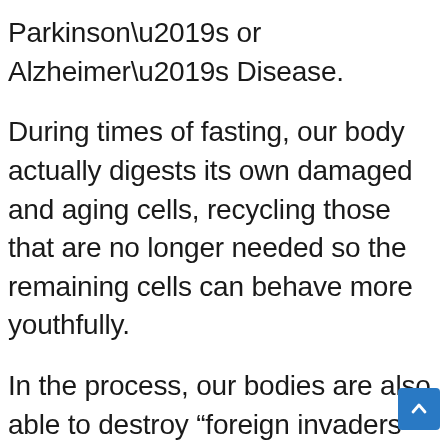Parkinson’s or Alzheimer’s Disease.
During times of fasting, our body actually digests its own damaged and aging cells, recycling those that are no longer needed so the remaining cells can behave more youthfully.
In the process, our bodies are also able to destroy “foreign invaders” such as bacteria, viruses, and other pathogens